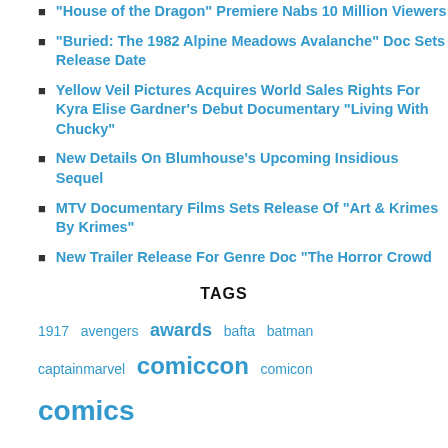“House of the Dragon” Premiere Nabs 10 Million Viewers
“Buried: The 1982 Alpine Meadows Avalanche” Doc Sets Release Date
Yellow Veil Pictures Acquires World Sales Rights For Kyra Elise Gardner’s Debut Documentary “Living With Chucky”
New Details On Blumhouse’s Upcoming Insidious Sequel
MTV Documentary Films Sets Release Of “Art & Krimes By Krimes”
New Trailer Release For Genre Doc “The Horror Crowd
TAGS
1917  avengers  awards  bafta  batman  captainmarvel  comiccon  comicon  comics